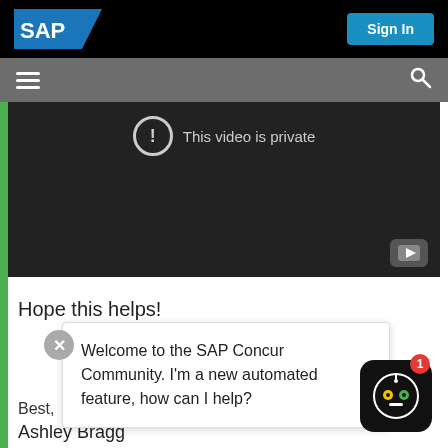[Figure (screenshot): SAP website header with SAP logo on the left and Sign In button on the right, on a black background]
[Figure (screenshot): Gray navigation bar with hamburger menu icon on the left and search icon on the right]
[Figure (screenshot): Video player showing a private video message with exclamation circle icon and YouTube logo]
Hope this helps!
Welcome to the SAP Concur Community. I'm a new automated feature, how can I help?
Best,
Ashley Bragg